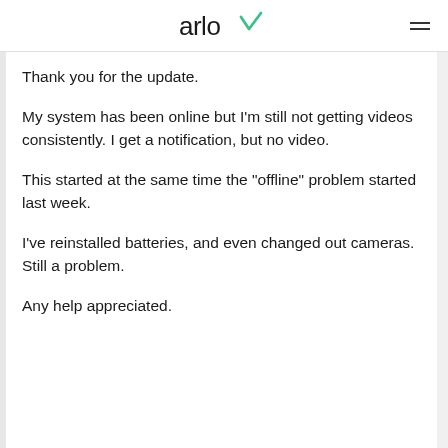arlo
Thank you for the update.
My system has been online but I'm still not getting videos consistently. I get a notification, but no video.
This started at the same time the "offline" problem started last week.
I've reinstalled batteries, and even changed out cameras. Still a problem.
Any help appreciated.